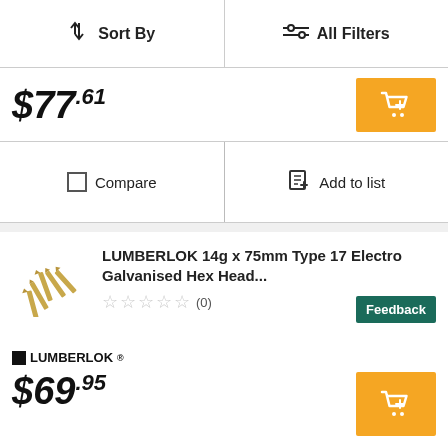Sort By | All Filters
$77.61
Compare | Add to list
LUMBERLOK 14g x 75mm Type 17 Electro Galvanised Hex Head...
(0)
LUMBERLOK
$69.95